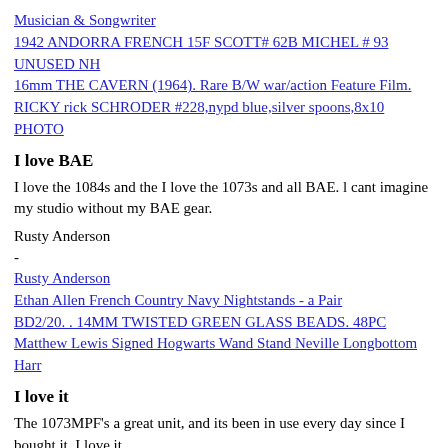Musician & Songwriter
1942 ANDORRA FRENCH 15F SCOTT# 62B MICHEL # 93 UNUSED NH
16mm THE CAVERN (1964). Rare B/W war/action Feature Film.
RICKY rick SCHRODER #228,nypd blue,silver spoons,8x10 PHOTO
I love BAE
I love the 1084s and the I love the 1073s and all BAE. l cant imagine my studio without my BAE gear.
Rusty Anderson
-
Rusty Anderson
Ethan Allen French Country Navy Nightstands - a Pair
BD2/20. . 14MM TWISTED GREEN GLASS BEADS. 48PC
Matthew Lewis Signed Hogwarts Wand Stand Neville Longbottom Harr
I love it
The 1073MPF's a great unit, and its been in use every day since I bought it. I love it.